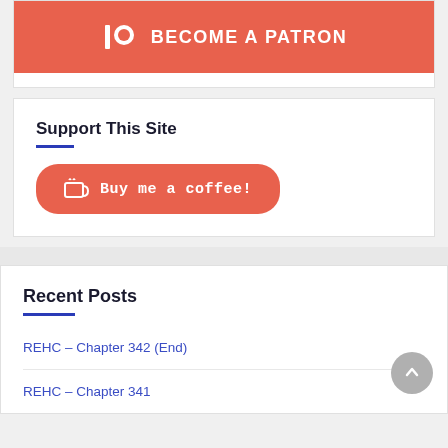[Figure (logo): Patreon 'Become a Patron' button with orange/red background and white text and logo icon]
Support This Site
[Figure (illustration): Red rounded button with coffee cup icon and text 'Buy me a coffee!']
Recent Posts
REHC – Chapter 342 (End)
REHC – Chapter 341